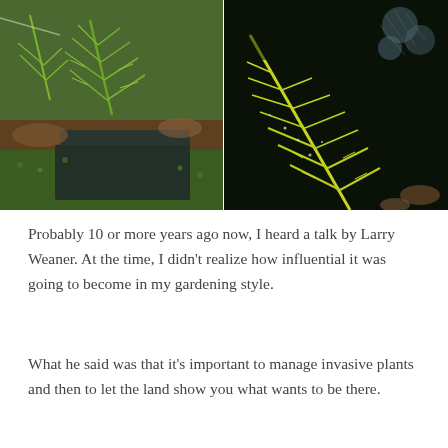[Figure (photo): Two side-by-side garden photos. Left: close-up of bright green fern fronds emerging near dark slate/stone edging with moss and leaf litter. Right: yellow-green fern fronds against a dark background with small blue spruce or juniper foliage.]
Probably 10 or more years ago now, I heard a talk by Larry Weaner. At the time, I didn't realize how influential it was going to become in my gardening style.
What he said was that it's important to manage invasive plants and then to let the land show you what wants to be there.